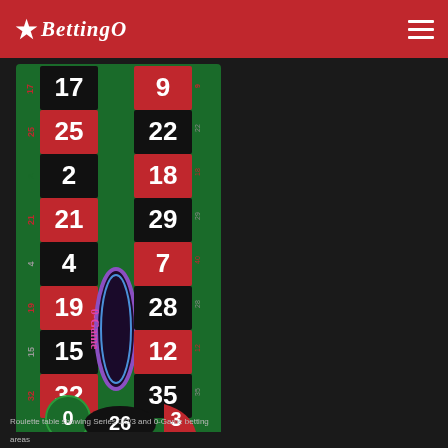★BettingO
[Figure (screenshot): Roulette betting table diagram showing Series 0/2/3 and 0-Game sections. Numbers visible: 17, 9, 25, 22, 2, 18, 21, 29, 4, 7, 19, 28, 15, 12, 32, 35, 0, 26, 3. Green felt roulette layout with red and black number cells.]
Roulette table showing Series 0/2/3 and 0-Game betting areas